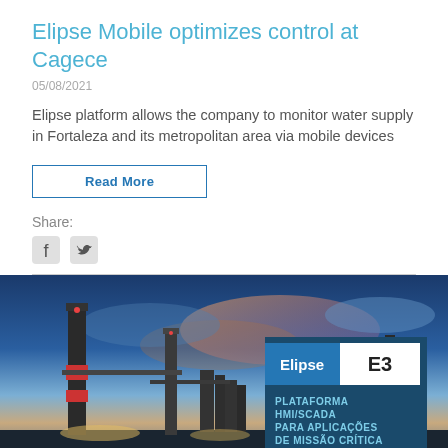Elipse Mobile optimizes control at Cagece
05/08/2021
Elipse platform allows the company to monitor water supply in Fortaleza and its metropolitan area via mobile devices
Read More
Share:
[Figure (photo): Industrial plant / refinery with tall smokestacks and towers photographed at dusk with a dramatic blue and pink sky, with an overlaid Elipse E3 product card reading 'PLATAFORMA HMI/SCADA PARA APLICAÇÕES DE MISSÃO CRÍTICA']